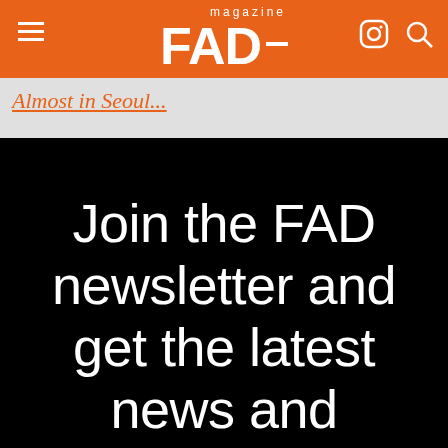FAD magazine
Almost in Seoul...
Join the FAD newsletter and get the latest news and